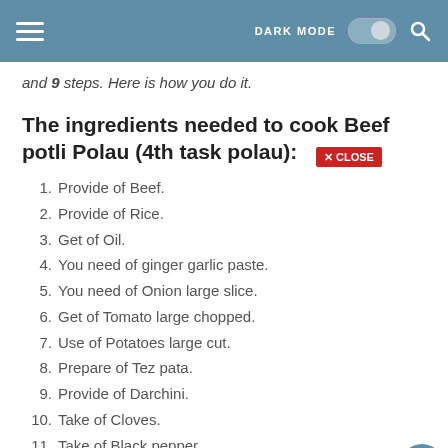DARK MODE [toggle] [search]
and 9 steps. Here is how you do it.
The ingredients needed to cook Beef potli Polau (4th task polau):
1. Provide of Beef.
2. Provide of Rice.
3. Get of Oil.
4. You need of ginger garlic paste.
5. You need of Onion large slice.
6. Get of Tomato large chopped.
7. Use of Potatoes large cut.
8. Prepare of Tez pata.
9. Provide of Darchini.
10. Take of Cloves.
11. Take of Black pepper.